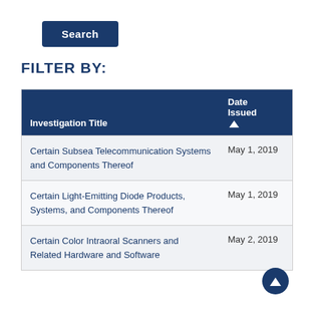Search
FILTER BY:
| Investigation Title | Date Issued ▲ |
| --- | --- |
| Certain Subsea Telecommunication Systems and Components Thereof | May 1, 2019 |
| Certain Light-Emitting Diode Products, Systems, and Components Thereof | May 1, 2019 |
| Certain Color Intraoral Scanners and Related Hardware and Software | May 2, 2019 |